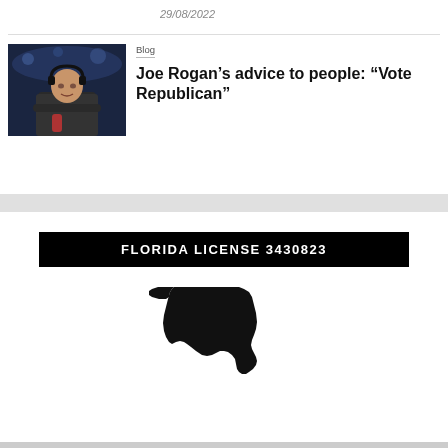29/08/2022
Blog
Joe Rogan’s advice to people: “Vote Republican”
[Figure (photo): Photo of Joe Rogan wearing headphones, seated at what appears to be a sports broadcast desk]
[Figure (illustration): Black silhouette map of the state of Florida]
FLORIDA LICENSE 3430823